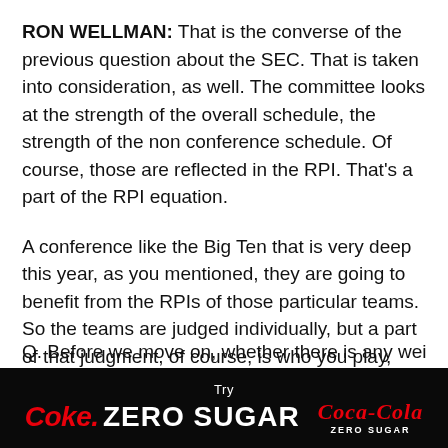RON WELLMAN: That is the converse of the previous question about the SEC. That is taken into consideration, as well. The committee looks at the strength of the overall schedule, the strength of the non conference schedule. Of course, those are reflected in the RPI. That's a part of the RPI equation.
A conference like the Big Ten that is very deep this year, as you mentioned, they are going to benefit from the RPIs of those particular teams. So the teams are judged individually, but a part of that judgment, of course, is who you play, where you play, and the result of the game.
But those conferences that are exceptionally strong and have a lot of depth are benefited by that depth and strength of depth.
[Figure (other): Coca-Cola advertisement banner: 'Try Coke. ZERO SUGAR' with Coca-Cola Zero Sugar logo on black background]